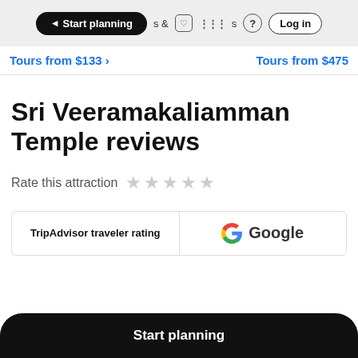Start planning   & Activities   ? Log in
Tours from $133 ›    Tours from $475
Sri Veeramakaliamman Temple reviews
Rate this attraction ☆☆☆☆☆
| TripAdvisor traveler rating | Google |
| --- | --- |
Start planning